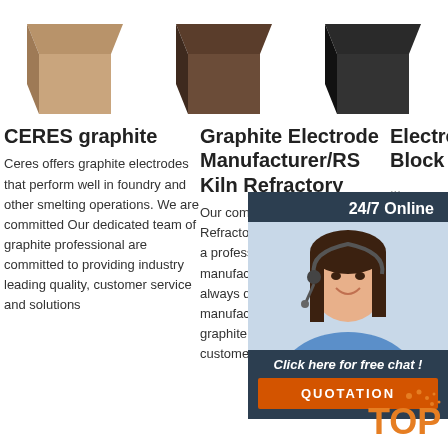[Figure (photo): Three graphite/carbon block product images shown from left (light brown/tan), center (dark brown), right (black) in a row at the top of the page]
CERES graphite
Ceres offers graphite electrodes that perform well in foundry and other smelting operations. We are committed Our dedicated team of graphite professional are committed to providing industry leading quality, customer service and solutions...
Graphite Electrode Manufacturer/RS Kiln Refractory
Our company, RS Kiln Refractory Material Company, is a professional graphite electrode manufacturer in China and always devoted into manufacturing high quality graphite electrodes for our customers...
Electrode Graphite Block Carbon Graphite
...
2020-1 22u20...
Qifeng Co., Ltd carbon manufacturer in China, with more than 15 years production experiences, can provide carbon materials and...
[Figure (photo): Customer service representative with headset, smiling, shown in chat widget overlay with dark blue background, orange quotation button, and TOP badge]
24/7 Online
Click here for free chat !
QUOTATION